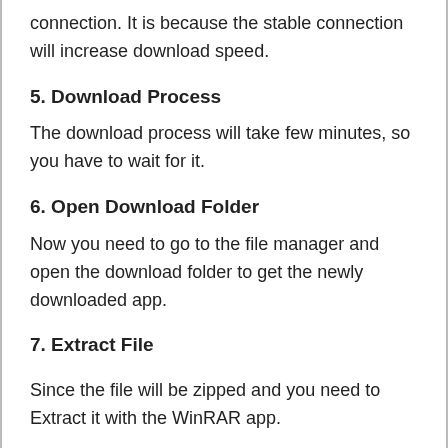connection. It is because the stable connection will increase download speed.
5. Download Process
The download process will take few minutes, so you have to wait for it.
6. Open Download Folder
Now you need to go to the file manager and open the download folder to get the newly downloaded app.
7. Extract File
Since the file will be zipped and you need to Extract it with the WinRAR app.